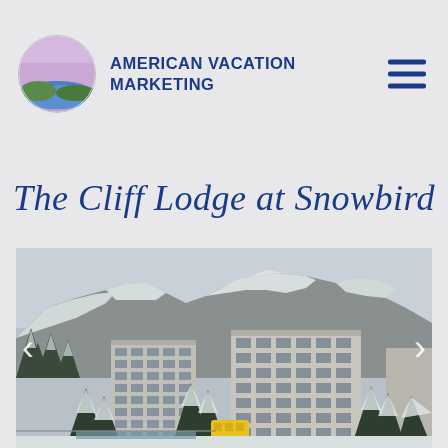[Figure (logo): American Vacation Marketing logo: circular badge with airplane silhouette over stylized landscape with purple sky and blue water]
AMERICAN VACATION MARKETING
The Cliff Lodge at Snowbird
[Figure (photo): Exterior photo of The Cliff Lodge at Snowbird ski resort in winter. Large modernist concrete hotel building with grid-like windows, surrounded by snow-covered evergreen trees. Snowy mountain ridge behind. Yellow tram/shuttle visible near building entrance. Overcast sky.]